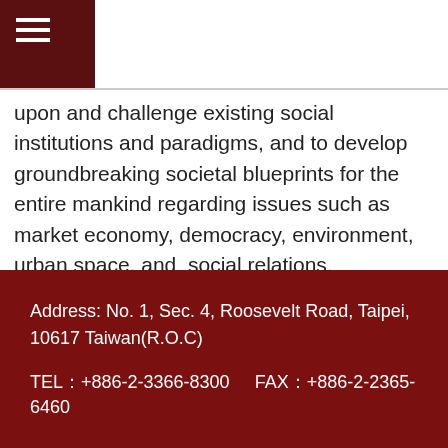≡
upon and challenge existing social institutions and paradigms, and to develop groundbreaking societal blueprints for the entire mankind regarding issues such as market economy, democracy, environment, urban space, and social relations.
Back → Top →
Address: No. 1, Sec. 4, Roosevelt Road, Taipei, 10617 Taiwan(R.O.C)
TEL：+886-2-3366-8300    FAX：+886-2-2365-6460